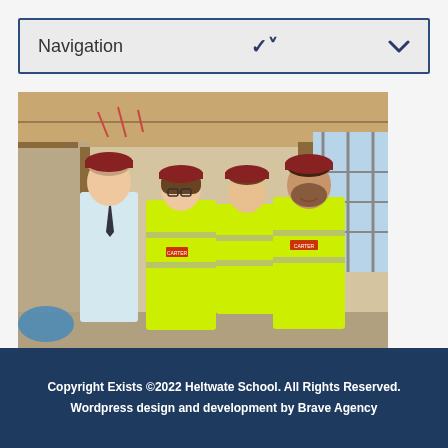Navigation
[Figure (photo): Four people in yellow high-visibility vests and red hard hats standing inside a building under construction. The interior shows exposed wiring, scaffolding visible through a window on the right, and construction materials.]
Copyright Exists ©2022 Heltwate School. All Rights Reserved. Wordpress design and development by Brave Agency